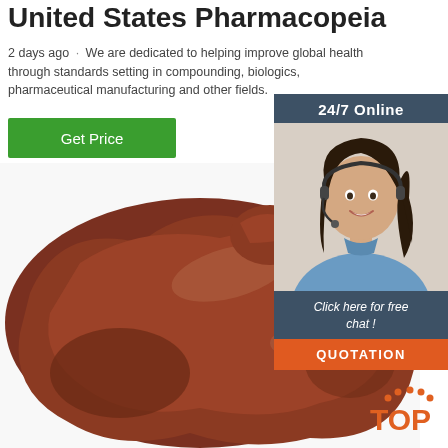United States Pharmacopeia
2 days ago · We are dedicated to helping improve global health through standards setting in compounding, biologics, pharmaceutical manufacturing and other fields.
Get Price
[Figure (photo): Photo of a raw animal liver (dark reddish-brown organ) on white background]
[Figure (infographic): 24/7 Online chat widget with a female customer service agent wearing a headset. Text: 'Click here for free chat!' with an orange QUOTATION button.]
[Figure (logo): TOP logo in orange with decorative dots above]